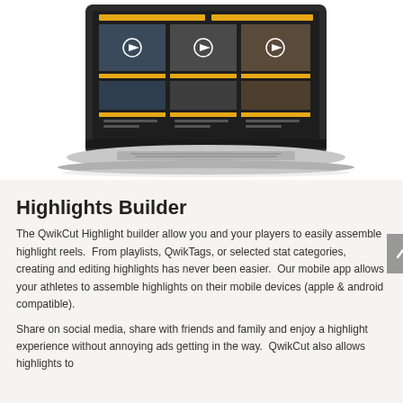[Figure (screenshot): A laptop computer displaying the QwikCut video highlights builder interface, showing a dark-themed screen with multiple video thumbnails arranged in a grid with orange accent bars]
Highlights Builder
The QwikCut Highlight builder allow you and your players to easily assemble highlight reels.  From playlists, QwikTags, or selected stat categories, creating and editing highlights has never been easier.  Our mobile app allows your athletes to assemble highlights on their mobile devices (apple & android compatible).
Share on social media, share with friends and family and enjoy a highlight experience without annoying ads getting in the way.  QwikCut also allows highlights to